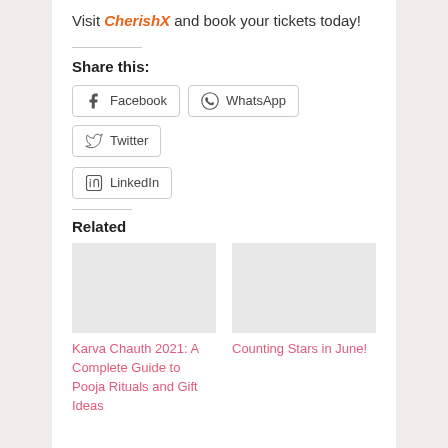Visit CherishX and book your tickets today!
Share this:
[Figure (other): Social share buttons: Facebook, WhatsApp, Twitter, LinkedIn]
Related
[Figure (photo): Placeholder image for Karva Chauth 2021 article]
Karva Chauth 2021: A Complete Guide to Pooja Rituals and Gift Ideas
[Figure (photo): Placeholder image for Counting Stars in June article]
Counting Stars in June!